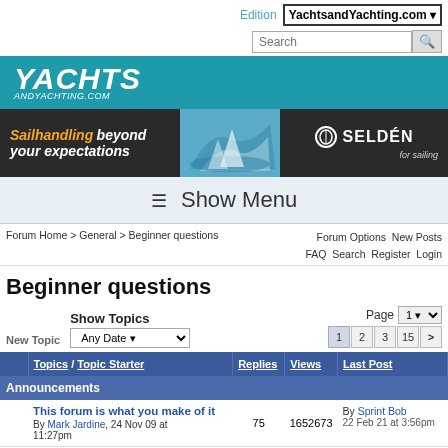Edition YachtsandYachting.com
[Figure (logo): YachtsandYachting.com logo on teal/cyan background]
[Figure (infographic): Selden sailing ad banner: 'Sailhandling beyond your expectations' with sailing boat photo and Selden for sailing logo]
≡ Show Menu
Forum Home > General > Beginner questions    Forum Options  New Posts  FAQ  Search  Register  Login
Beginner questions
New Topic    Show Topics    Any Date ▾    Page 1 ▾   1  2  3  15  >
|  | Topics / Topic Starter | Replies | Views | Last Post |
| --- | --- | --- | --- | --- |
| Announcements |  |  |  |  |
|  | This forum is what you make of it
By Mark Jardine, 24 Nov 09 at 11:27pm | 75 | 1652673 | By Sprint Bob
22 Feb 21 at 3:56pm |